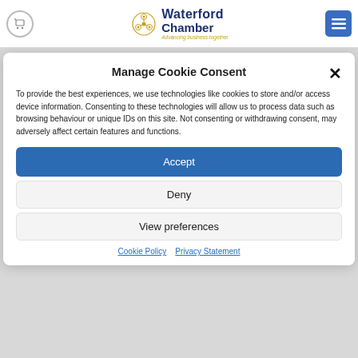Waterford Chamber – Advancing business together
Manage Cookie Consent
To provide the best experiences, we use technologies like cookies to store and/or access device information. Consenting to these technologies will allow us to process data such as browsing behaviour or unique IDs on this site. Not consenting or withdrawing consent, may adversely affect certain features and functions.
Accept
Deny
View preferences
Cookie Policy   Privacy Statement